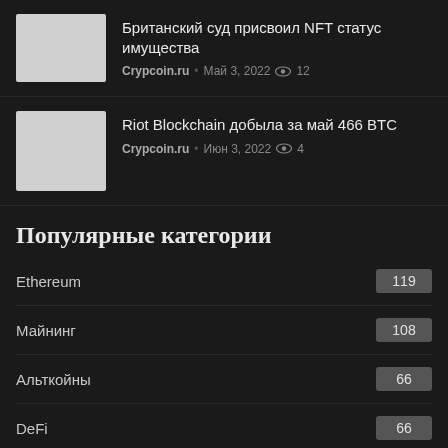[Figure (photo): Thumbnail image placeholder for news article 1]
Британский суд присвоил NFT статус имущества
Crypcoin.ru • Май 3, 2022 👁 12
[Figure (photo): Thumbnail image placeholder for news article 2]
Riot Blockchain добыла за май 466 BTC
Crypcoin.ru • Июн 3, 2022 👁 4
Популярные категории
Ethereum 119
Майнинг 108
Альткойны 66
DeFi 66
NFT